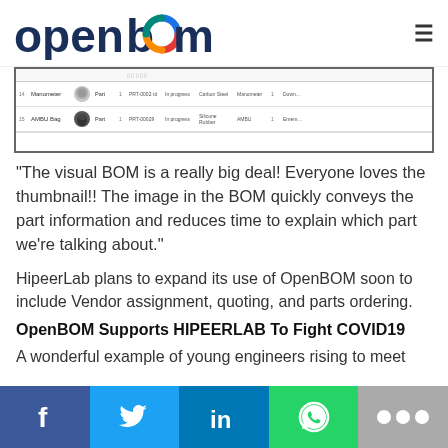[Figure (logo): OpenBOM logo with colorful circular icon and dark blue text]
[Figure (screenshot): Screenshot of a BOM table showing part rows with thumbnail images, part names, statuses, and other columns]
“The visual BOM is a really big deal!  Everyone loves the thumbnail!!  The image in the BOM quickly conveys the part information and reduces time to explain which part we’re talking about.”
HipeerLab plans to expand its use of OpenBOM soon to include Vendor assignment, quoting, and parts ordering.
OpenBOM Supports HIPEERLAB To Fight COVID19
A wonderful example of young engineers rising to meet
Facebook, Twitter, LinkedIn, WhatsApp, More social share buttons